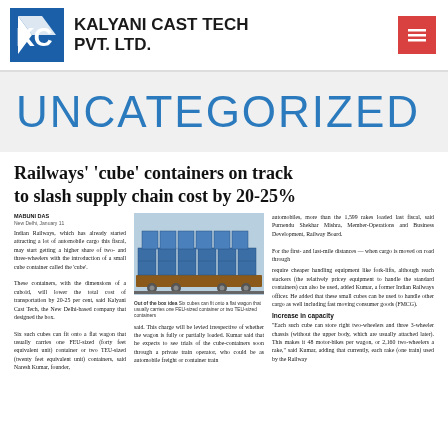KALYANI CAST TECH PVT. LTD.
UNCATEGORIZED
Railways' 'cube' containers on track to slash supply chain cost by 20-25%
MABUNI DAS
NEW DELHI, JANUARY 11
Indian Railways, which has already started attracting a lot of automobile cargo this fiscal, may start getting a higher share of two- and three-wheelers with the introduction of a small cube container called the 'cube'.
These containers, with the dimensions of a cuboid, will lower the total cost of transportation by 20-25 per cent, said Kalyani Cast Tech, the New Delhi-based company that designed the box.
Six such cubes can fit onto a flat wagon that usually carries one FEU-sized (forty feet equivalent unit) container or two TEU-sized (twenty feet equivalent unit) containers, said Naresh Kumar, founder,
[Figure (photo): Photo of blue cube containers stacked on a flat rail wagon]
Out of the box idea Six cubes can fit onto a flat wagon that usually carries one FEU-sized container or two TEU-sized containers
said. This charge will be levied irrespective of whether the wagon is fully or partially loaded. Kumar said that he expects to see trials of the cube-containers soon through a private train operator, who could be as automobile freight or container train
automobiles, more than the 1,599 rakes loaded last fiscal, said Purnendu Shekhar Mishra, Member-Operations and Business Development, Railway Board.
For the first- and last-mile distances — when cargo is moved on road through
require cheaper handling equipment like fork-lifts, although reach stackers (the relatively pricey equipment to handle the standard containers) can also be used, added Kumar, a former Indian Railways officer. He added that these small cubes can be used to handle other cargo as well including fast moving consumer goods (FMCG).
Increase in capacity
"Each such cube can store right two-wheelers and three 3-wheeler chassis (without the upper body, which are usually attached later). This makes it 48 motor-bikes per wagon, or 2,160 two-wheelers a rake," said Kumar, adding that currently, each rake (one train) used by the Railway